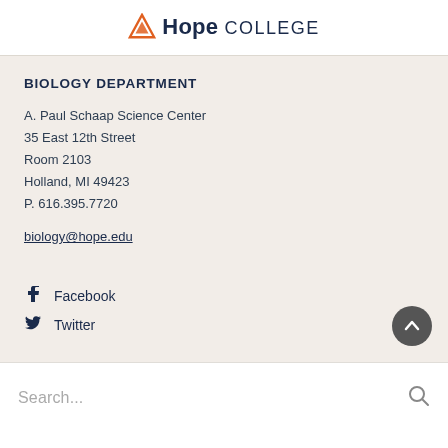Hope College
BIOLOGY DEPARTMENT
A. Paul Schaap Science Center
35 East 12th Street
Room 2103
Holland, MI 49423
P. 616.395.7720
biology@hope.edu
Facebook
Twitter
Search...